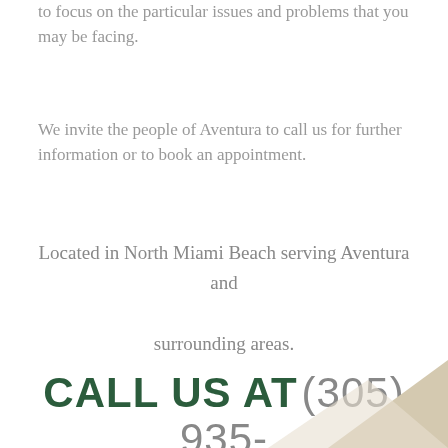to focus on the particular issues and problems that you may be facing.
We invite the people of Aventura to call us for further information or to book an appointment.
Located in North Miami Beach serving Aventura and surrounding areas.
CALL US AT (305) 935-5536
[Figure (illustration): Partial decorative geometric shape in beige/tan color in bottom-right corner]